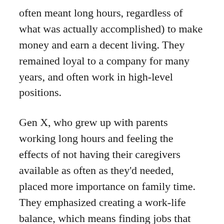often meant long hours, regardless of what was actually accomplished) to make money and earn a decent living. They remained loyal to a company for many years, and often work in high-level positions.
Gen X, who grew up with parents working long hours and feeling the effects of not having their caregivers available as often as they'd needed, placed more importance on family time. They emphasized creating a work-life balance, which means finding jobs that provide options for telecommuting, adequate vacation time, and extended maternity/paternity leave.